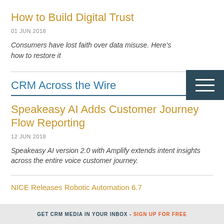How to Build Digital Trust
01 JUN 2018
Consumers have lost faith over data misuse. Here's how to restore it
CRM Across the Wire
Speakeasy AI Adds Customer Journey Flow Reporting
12 JUN 2018
Speakeasy AI version 2.0 with Amplify extends intent insights across the entire voice customer journey.
NICE Releases Robotic Automation 6.7
GET CRM MEDIA IN YOUR INBOX - SIGN UP FOR FREE